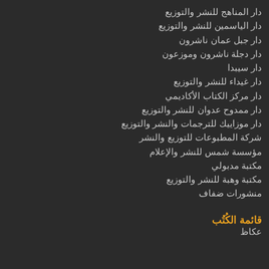دار المناهج للنشر والتوزيع
دار الياسمين للنشر والتوزيع
دار جبل عمان ناشرون
دار دجلة ناشرون وموزعون
دار سيبدا
دار غيداء للنشر والتوزيع
دار مركز الكتاب الأكاديمي
دار ممدوح عدوان للنشر والتوزيع
دار موزاييك للترجمات والنشر والتوزيع
شركة المطبوعات للتوزيع والنشر
مؤسسة شمس للنشر والإعلام
مكتبة مدبولي
مكتبة وهبة للنشر والتوزيع
منشورات ضفاف
قائمة الكُتُب
عكاظ